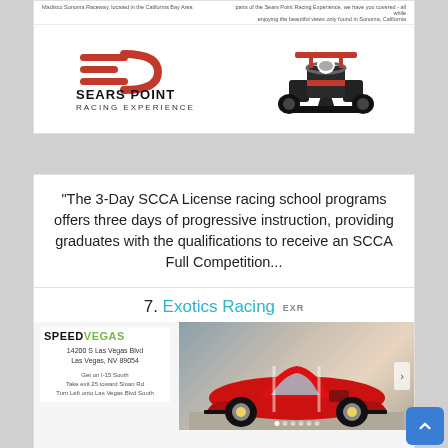[Figure (screenshot): Sears Point Racing Experience card showing logo and race car image with small header text]
"The 3-Day SCCA License racing school programs offers three days of progressive instruction, providing graduates with the qualifications to receive an SCCA Full Competition...
7. Exotics Racing EXR
[Figure (screenshot): SpeedVegas website screenshot showing address 14200 S Las Vegas Blvd Las Vegas, NV 89054, directions, red Ferrari sports car, filter bar with All Locations, All Exotic Cars, Select Date dropdowns and SEARCH button]
DRIVE SUPERCARS TO THE LIMIT
ON THE FASTEST & SAFEST RACETRACK IN LAS VEGAS